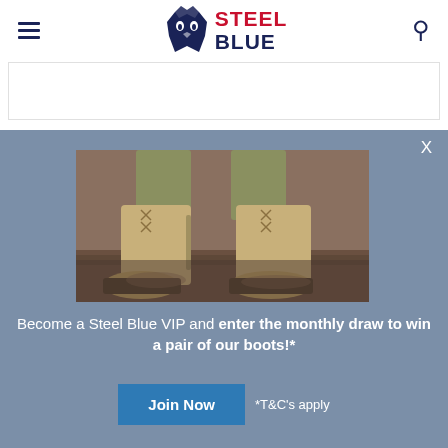[Figure (logo): Steel Blue brand logo with wolf head icon and STEEL BLUE text in navy and red]
[Figure (photo): Close-up photo of a person wearing tan/wheat colored Steel Blue work boots with laces and side zip, standing on wet ground]
Become a Steel Blue VIP and enter the monthly draw to win a pair of our boots!*
Join Now
*T&C's apply